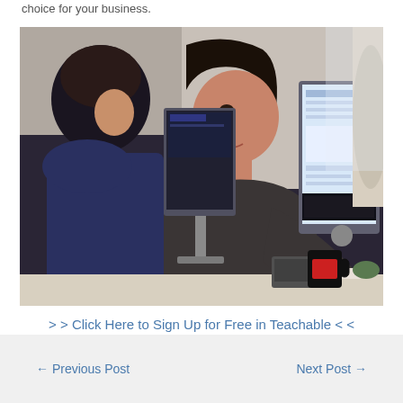choice for your business.
[Figure (photo): Two women sitting at a desk looking at computer monitors in an office environment. Multiple screens visible showing various content. A man is partially visible in the background on the right.]
> > Click Here to Sign Up for Free in Teachable < <
← Previous Post    Next Post →